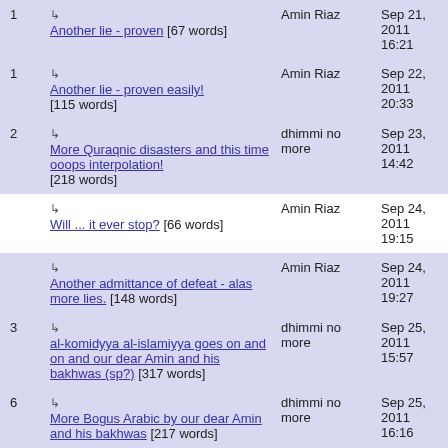| # | Title | Author | Date |
| --- | --- | --- | --- |
| 1 | ↳ Another lie - proven [67 words] | Amin Riaz | Sep 21, 2011 16:21 |
| 1 | ↳ Another lie - proven easily! [115 words] | Amin Riaz | Sep 22, 2011 20:33 |
| 2 | ↳ More Quraqnic disasters and this time ooops interpolation! [218 words] | dhimmi no more | Sep 23, 2011 14:42 |
|  | ↳ Will ... it ever stop? [66 words] | Amin Riaz | Sep 24, 2011 19:15 |
|  | ↳ Another admittance of defeat - alas more lies. [148 words] | Amin Riaz | Sep 24, 2011 19:27 |
| 3 | ↳ al-komidyya al-islamiyya goes on and on and our dear Amin and his bakhwas (sp?) [317 words] | dhimmi no more | Sep 25, 2011 15:57 |
| 6 | ↳ More Bogus Arabic by our dear Amin and his bakhwas [217 words] | dhimmi no more | Sep 25, 2011 16:16 |
|  | ↳ | Amin Riaz | Sep 27 |